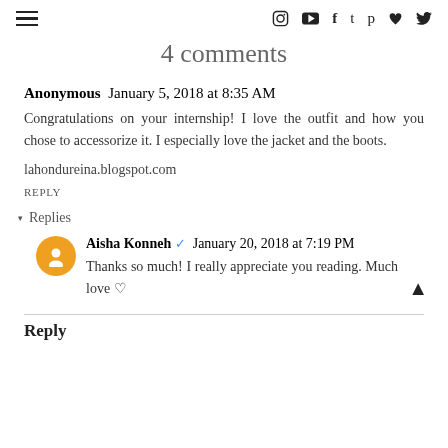≡  (social icons: Instagram, YouTube, Facebook, Tumblr, Pinterest, Heart, Twitter)
4 comments
Anonymous  January 5, 2018 at 8:35 AM
Congratulations on your internship! I love the outfit and how you chose to accessorize it. I especially love the jacket and the boots.
lahondureina.blogspot.com
REPLY
▾ Replies
Aisha Konneh ✔ January 20, 2018 at 7:19 PM
Thanks so much! I really appreciate you reading. Much love ♡
Reply